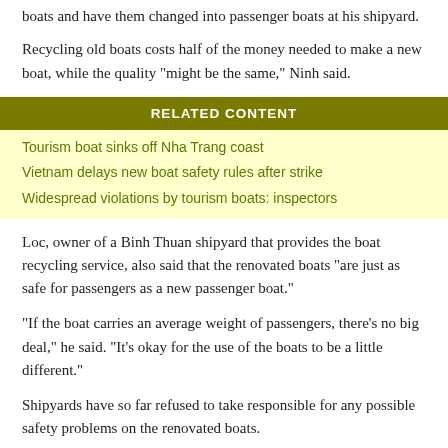boats and have them changed into passenger boats at his shipyard.
Recycling old boats costs half of the money needed to make a new boat, while the quality "might be the same," Ninh said.
RELATED CONTENT
Tourism boat sinks off Nha Trang coast
Vietnam delays new boat safety rules after strike
Widespread violations by tourism boats: inspectors
Loc, owner of a Binh Thuan shipyard that provides the boat recycling service, also said that the renovated boats "are just as safe for passengers as a new passenger boat."
"If the boat carries an average weight of passengers, there's no big deal," he said. "It's okay for the use of the boats to be a little different."
Shipyards have so far refused to take responsible for any possible safety problems on the renovated boats.
Le Dinh Tuan, a lecturer on boat technology at the Ho Chi Minh City University of Polytechnics, said that the practice of recycling boats "is